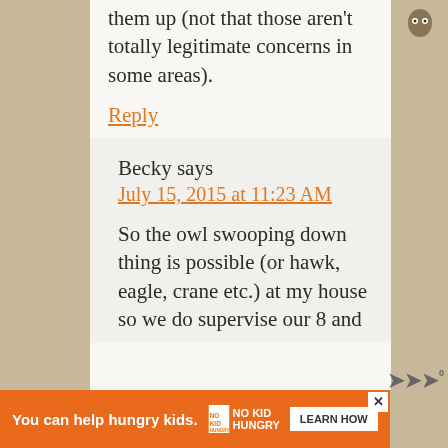them up (not that those aren't totally legitimate concerns in some areas).
Reply
Becky says
July 15, 2015 at 11:23 AM
So the owl swooping down thing is possible (or hawk, eagle, crane etc.) at my house so we do supervise our 8 and
[Figure (other): Orange advertisement banner: 'You can help hungry kids.' with No Kid Hungry logo and Learn How button]